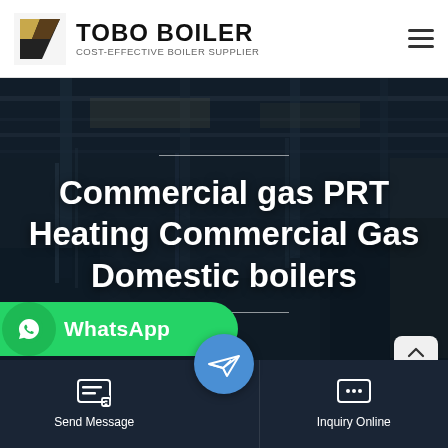[Figure (logo): TOBO BOILER logo with geometric triangular icon and text 'COST-EFFECTIVE BOILER SUPPLIER']
[Figure (photo): Industrial factory/warehouse interior with steel structures, crane rails, and manufacturing equipment, used as hero background image]
Commercial gas PRT Heating Commercial Gas Domestic boilers
WhatsApp
Send Message
Inquiry Online